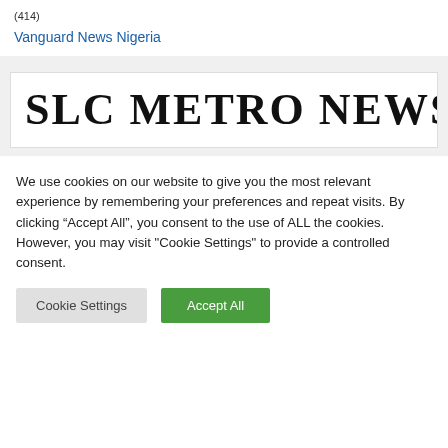(414)
Vanguard News Nigeria
[Figure (logo): SLC METRO NEWS logo in bold serif black text on white background]
We use cookies on our website to give you the most relevant experience by remembering your preferences and repeat visits. By clicking “Accept All”, you consent to the use of ALL the cookies. However, you may visit "Cookie Settings" to provide a controlled consent.
Cookie Settings
Accept All